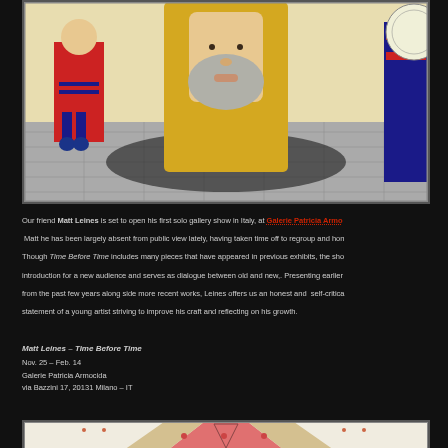[Figure (illustration): Cropped painting showing a large bearded figure with golden/yellow robes or hair, flanked by smaller figures in colorful folk art style on a decorative patterned background]
Our friend Matt Leines is set to open his first solo gallery show in Italy, at Galerie Patricia Armo... Matt he has been largely absent from public view lately, having taken time off to regroup and hon... Though Time Before Time includes many pieces that have appeared in previous exhibits, the sho... introduction for a new audience and serves as dialogue between old and new,. Presenting earlier... from the past few years along side more recent works, Leines offers us an honest and self-critica... statement of a young artist striving to improve his craft and reflecting on his growth.
Matt Leines – Time Before Time
Nov. 25 – Feb. 14
Galerie Patricia Armocida
via Bazzini 17, 20131 Milano – IT
[Figure (illustration): Partial view of another artwork at the bottom of the page showing decorative folk art style imagery with geometric patterns and bright colors]